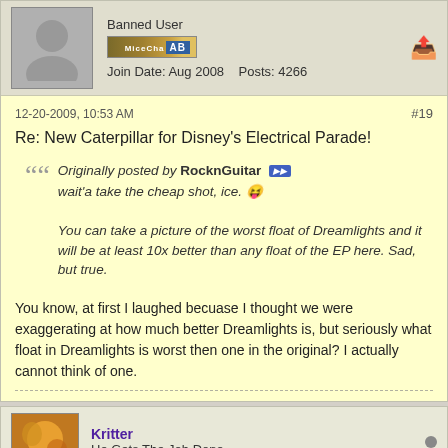Banned User
Join Date: Aug 2008   Posts: 4266
12-20-2009, 10:53 AM
#19
Re: New Caterpillar for Disney's Electrical Parade!
Originally posted by RocknGuitar
wait'a take the cheap shot, ice. 😜
You can take a picture of the worst float of Dreamlights and it will be at least 10x better than any float of the EP here. Sad, but true.
You know, at first I laughed becuase I thought we were exaggerating at how much better Dreamlights is, but seriously what float in Dreamlights is worst then one in the original? I actually cannot think of one.
Kritter
He Gets The Job Done